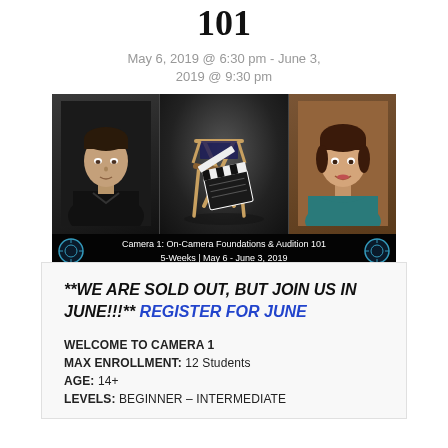101
May 6, 2019 @ 6:30 pm - June 3, 2019 @ 9:30 pm
[Figure (photo): Banner image showing three panels: a man's headshot on the left, a director's chair with a clapperboard in the center, and a woman's headshot on the right. Caption reads: Camera 1: On-Camera Foundations & Audition 101 / 5-Weeks | May 6 - June 3, 2019]
**WE ARE SOLD OUT, BUT JOIN US IN JUNE!!!** REGISTER FOR JUNE
WELCOME TO CAMERA 1
MAX ENROLLMENT: 12 Students
AGE: 14+
LEVELS: BEGINNER – INTERMEDIATE